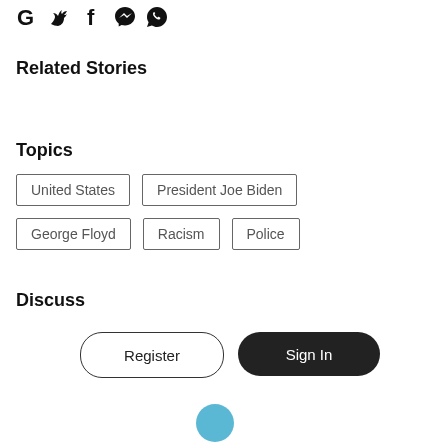[Figure (illustration): Social media share icons: Google, Twitter, Facebook, Messenger, WhatsApp]
Related Stories
Topics
United States
President Joe Biden
George Floyd
Racism
Police
Discuss
Register
Sign In